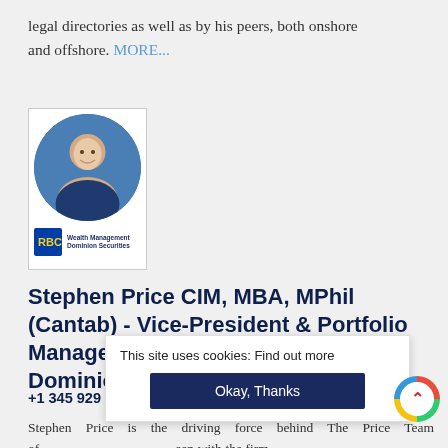legal directories as well as by his peers, both onshore and offshore. MORE...
[Figure (photo): Professional headshot of Stephen Price in a circular crop, with RBC Wealth Management Dominion Securities branding below]
Stephen Price CIM, MBA, MPhil (Cantab) - Vice-President & Portfolio Manager, The Price Team of RBC Dominion Securities
+1 345 929 9000 | www.priceteamrbc.com
Stephen Price is the driving force behind The Price Team of RBC Dominion Securities. Having been with the firm since September 2009, he began his financial services career at Goldman Sachs, a leading global investment banking, securities and investment